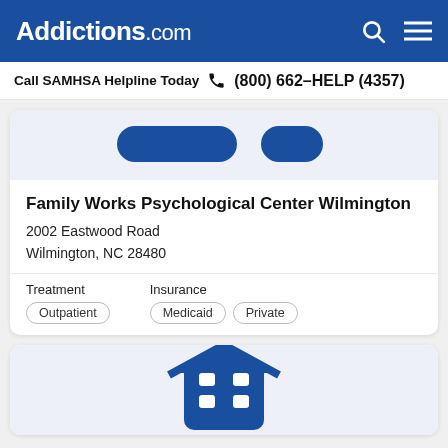Addictions.com
Call SAMHSA Helpline Today  (800) 662-HELP (4357)
[Figure (illustration): Partial view of a facility/building icon with blue rounded rectangle buttons below it]
Family Works Psychological Center Wilmington
2002 Eastwood Road
Wilmington, NC 28480
Treatment
Outpatient
Insurance
Medicaid  Private
[Figure (illustration): Partial view of a house/building icon in blue at the bottom of the page]